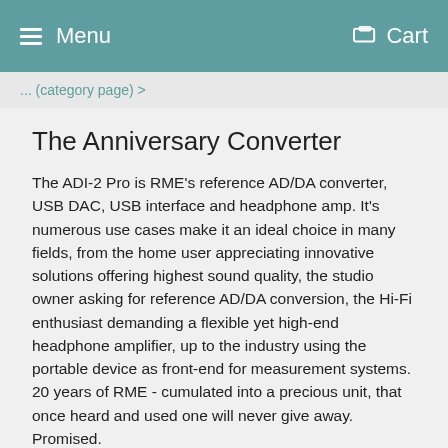Menu  Cart
...
The Anniversary Converter
The ADI-2 Pro is RME's reference AD/DA converter, USB DAC, USB interface and headphone amp. It's numerous use cases make it an ideal choice in many fields, from the home user appreciating innovative solutions offering highest sound quality, the studio owner asking for reference AD/DA conversion, the Hi-Fi enthusiast demanding a flexible yet high-end headphone amplifier, up to the industry using the portable device as front-end for measurement systems. 20 years of RME - cumulated into a precious unit, that once heard and used one will never give away. Promised.
Femtoseconds for clocking
With the SteadyClock FS, the ADI-2 Pro FS features the latest clock and jitter rejection technology from the recently introduced ADI-2 DAC. Based on a femtosecond clock – a femtosecond is one quadrillionth of a second – SteadyClock FS reduces the intrinsic